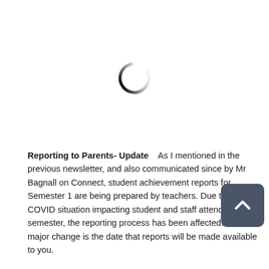[Figure (other): Loading spinner icon — a dark grey arc (letter C shape) on white background, indicating a loading state]
Reporting to Parents- Update   As I mentioned in the previous newsletter, and also communicated since by Mr Bagnall on Connect, student achievement reports for Semester 1 are being prepared by teachers. Due to the COVID situation impacting student and staff attendance this semester, the reporting process has been affected. The major change is the date that reports will be made available to you.

Other than this, there is no change to what is reported to you in Semester 1 reports. This is a point I wish to strongly emphasize as